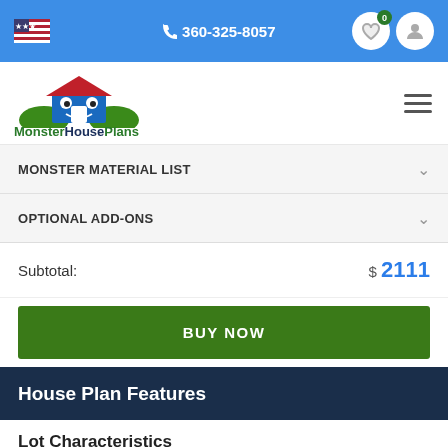360-325-8057
[Figure (logo): MonsterHousePlans logo with cartoon monster house and green hills]
MONSTER MATERIAL LIST
OPTIONAL ADD-ONS
Subtotal: $ 2111
BUY NOW
House Plan Features
Lot Characteristics
Suited for corner lots
Suited for a back view